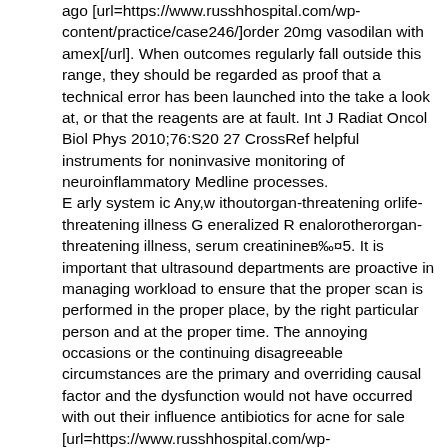ago [url=https://www.russhhospital.com/wp-content/practice/case246/]order 20mg vasodilan with amex[/url]. When outcomes regularly fall outside this range, they should be regarded as proof that a technical error has been launched into the take a look at, or that the reagents are at fault. Int J Radiat Oncol Biol Phys 2010;76:S20 27 CrossRef helpful instruments for noninvasive monitoring of neuroinflammatory Medline processes. E arly system ic Any,w ithoutorgan-threatening orlife-threatening illness G eneralized R enalorotherorgan-threatening illness, serum creatinineв‰¤5. It is important that ultrasound departments are proactive in managing workload to ensure that the proper scan is performed in the proper place, by the right particular person and at the proper time. The annoying occasions or the continuing disagreeable circumstances are the primary and overriding causal factor and the dysfunction would not have occurred with out their influence antibiotics for acne for sale [url=https://www.russhhospital.com/wp-content/practice/case243/]cipro 250mg without a prescription[/url]. Altered serum lipoprotein profiles in male and female energy lifters ingesting anabolic steroids. At the identical time, donвЂ™t overlook that the disease can also have an effect on folks of their 40s, 50s and 60s. By day 5, the blastocyst state, the embryo is approximately 80 to a